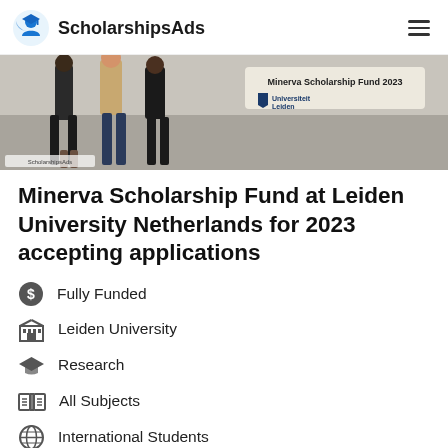ScholarshipsAds
[Figure (photo): Banner image showing students walking with Minerva Scholarship Fund 2023 and Universiteit Leiden logo overlay]
Minerva Scholarship Fund at Leiden University Netherlands for 2023 accepting applications
Fully Funded
Leiden University
Research
All Subjects
International Students